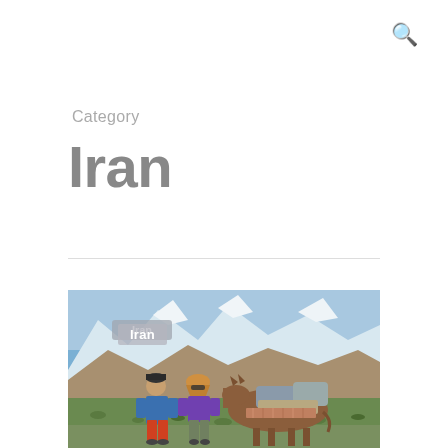🔍
Category
Iran
[Figure (photo): Two people standing next to a loaded pack donkey/mule in a mountainous landscape with snow-capped peaks in the background. A man on the left wears a blue jacket and orange pants; a woman in the middle wears a purple top with a headscarf. The mule is loaded with bundles and packs. Green vegetation is visible on the hillside. A label reading 'Iran' appears in the upper left area of the photo.]